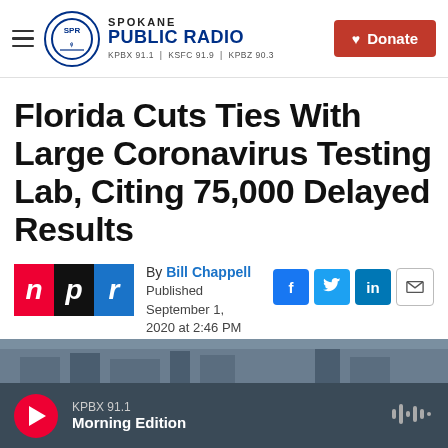Spokane Public Radio — KPBX 91.1 | KSFC 91.9 | KPBZ 90.3 — Donate
Florida Cuts Ties With Large Coronavirus Testing Lab, Citing 75,000 Delayed Results
By Bill Chappell
Published September 1, 2020 at 2:46 PM PDT
[Figure (photo): NPR logo and partial image strip]
KPBX 91.1 — Morning Edition (audio player bar)